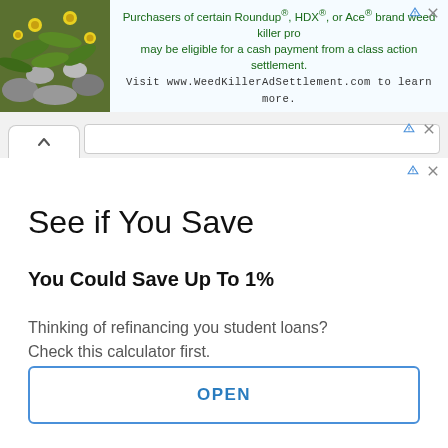[Figure (screenshot): Top banner advertisement with a plant/flower photo on the left and green text about Roundup/HDX/Ace brand weed killer class action settlement on the right. Text reads: 'Purchasers of certain Roundup®, HDX®, or Ace® brand weed killer products may be eligible for a cash payment from a class action settlement. Visit www.WeedKillerAdSettlement.com to learn more.']
[Figure (screenshot): Browser chrome showing a tab with up-arrow icon and a URL bar]
See if You Save
You Could Save Up To 1%
Thinking of refinancing you student loans? Check this calculator first.
earnest.com
OPEN